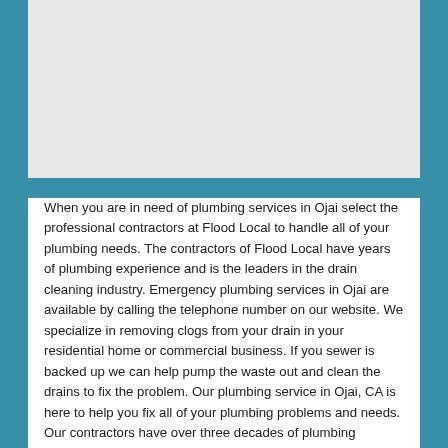[Figure (map): A light gray map placeholder area at the top of the page]
When you are in need of plumbing services in Ojai select the professional contractors at Flood Local to handle all of your plumbing needs. The contractors of Flood Local have years of plumbing experience and is the leaders in the drain cleaning industry. Emergency plumbing services in Ojai are available by calling the telephone number on our website. We specialize in removing clogs from your drain in your residential home or commercial business. If you sewer is backed up we can help pump the waste out and clean the drains to fix the problem. Our plumbing service in Ojai, CA is here to help you fix all of your plumbing problems and needs. Our contractors have over three decades of plumbing experience and can fix any and most plumbing problems you may have. If you drain needs to be cleaned out you chose the right website. We are experts in drain cleaning and plumbing services of all types. Looking for a plumber in Ojai? We have professional plumbing services